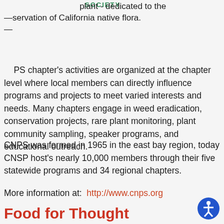SOCIETY
plant - dedicated to the conservation of California native flora.
PS chapter's activities are organized at the chapter level where local members can directly influence programs and projects to meet varied interests and needs. Many chapters engage in weed eradication, conservation projects, rare plant monitoring, plant community sampling, speaker programs, and educational outreach.
CNPS was formed in 1965 in the east bay region, today CNSP host's nearly 10,000 members through their five statewide programs and 34 regional chapters.
More information at:  http://www.cnps.org
Food for Thought